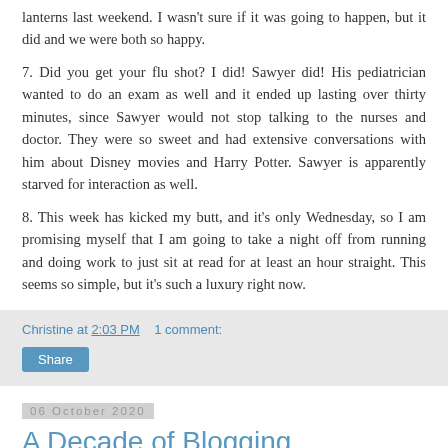lanterns last weekend. I wasn't sure if it was going to happen, but it did and we were both so happy.
7. Did you get your flu shot? I did! Sawyer did! His pediatrician wanted to do an exam as well and it ended up lasting over thirty minutes, since Sawyer would not stop talking to the nurses and doctor. They were so sweet and had extensive conversations with him about Disney movies and Harry Potter. Sawyer is apparently starved for interaction as well.
8. This week has kicked my butt, and it's only Wednesday, so I am promising myself that I am going to take a night off from running and doing work to just sit at read for at least an hour straight. This seems so simple, but it's such a luxury right now.
Christine at 2:03 PM   1 comment:
Share
06 October 2020
A Decade of Blogging